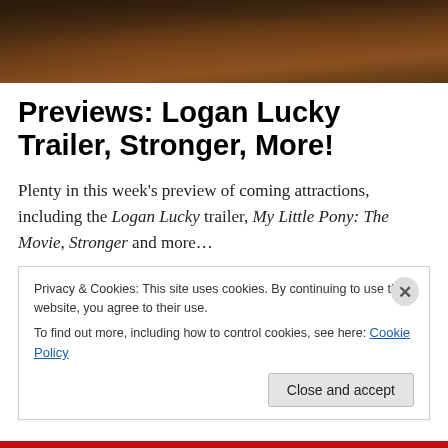[Figure (photo): Dark-toned photo showing people at a table, partially cropped at top of page]
Previews: Logan Lucky Trailer, Stronger, More!
Plenty in this week's preview of coming attractions, including the Logan Lucky trailer, My Little Pony: The Movie, Stronger and more…
Privacy & Cookies: This site uses cookies. By continuing to use this website, you agree to their use.
To find out more, including how to control cookies, see here: Cookie Policy